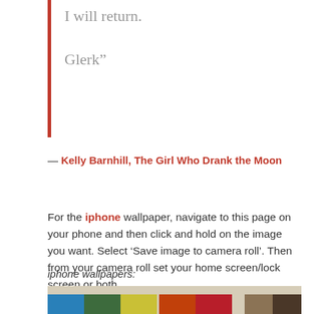I will return.

Glerk”
— Kelly Barnhill, The Girl Who Drank the Moon
For the iphone wallpaper, navigate to this page on your phone and then click and hold on the image you want. Select ‘Save image to camera roll’. Then from your camera roll set your home screen/lock screen or both.
iphone wallpapers:
[Figure (photo): A grid of colored squares including blue, dark green, yellow-green, red-orange, red/crimson, beige/cream, brown, dark brown, on a light beige background — iPhone wallpaper color swatches.]